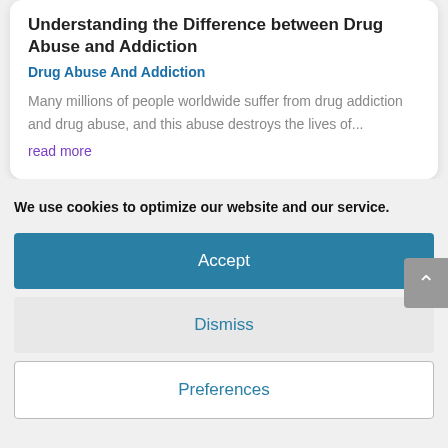Understanding the Difference between Drug Abuse and Addiction
Drug Abuse And Addiction
Many millions of people worldwide suffer from drug addiction and drug abuse, and this abuse destroys the lives of...
read more
We use cookies to optimize our website and our service.
Accept
Dismiss
Preferences